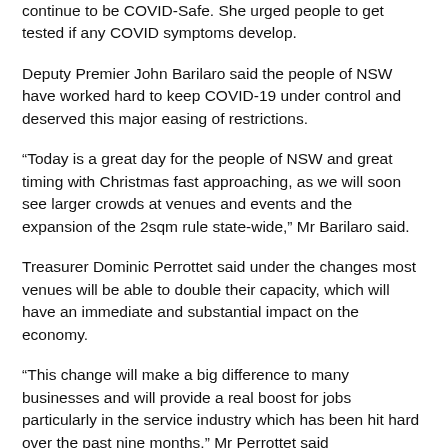continue to be COVID-Safe. She urged people to get tested if any COVID symptoms develop.
Deputy Premier John Barilaro said the people of NSW have worked hard to keep COVID-19 under control and deserved this major easing of restrictions.
“Today is a great day for the people of NSW and great timing with Christmas fast approaching, as we will soon see larger crowds at venues and events and the expansion of the 2sqm rule state-wide,” Mr Barilaro said.
Treasurer Dominic Perrottet said under the changes most venues will be able to double their capacity, which will have an immediate and substantial impact on the economy.
“This change will make a big difference to many businesses and will provide a real boost for jobs particularly in the service industry which has been hit hard over the past nine months,” Mr Perrottet said